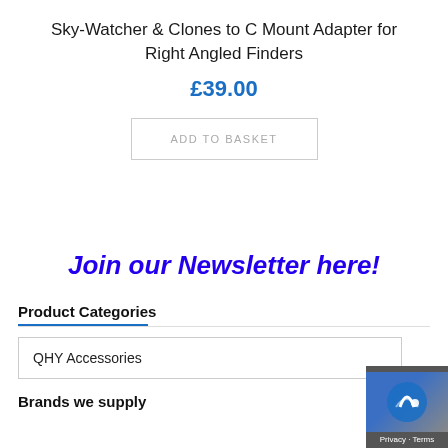Sky-Watcher & Clones to C Mount Adapter for Right Angled Finders
£39.00
ADD TO BASKET
Join our Newsletter here!
Product Categories
QHY Accessories
Brands we supply